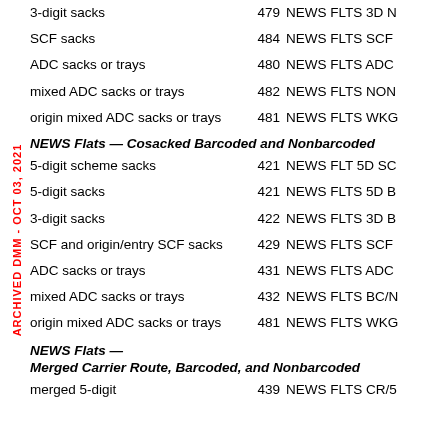3-digit sacks   479   NEWS FLTS 3D N
SCF sacks   484   NEWS FLTS SCF
ADC sacks or trays   480   NEWS FLTS ADC
mixed ADC sacks or trays   482   NEWS FLTS NON
origin mixed ADC sacks or trays   481   NEWS FLTS WKG
NEWS Flats — Cosacked Barcoded and Nonbarcoded
5-digit scheme sacks   421   NEWS FLT 5D SC
5-digit sacks   421   NEWS FLTS 5D B
3-digit sacks   422   NEWS FLTS 3D B
SCF and origin/entry SCF sacks   429   NEWS FLTS SCF
ADC sacks or trays   431   NEWS FLTS ADC
mixed ADC sacks or trays   432   NEWS FLTS BC/N
origin mixed ADC sacks or trays   481   NEWS FLTS WKG
NEWS Flats — Merged Carrier Route, Barcoded, and Nonbarcoded
merged 5-digit   439   NEWS FLTS CR/5